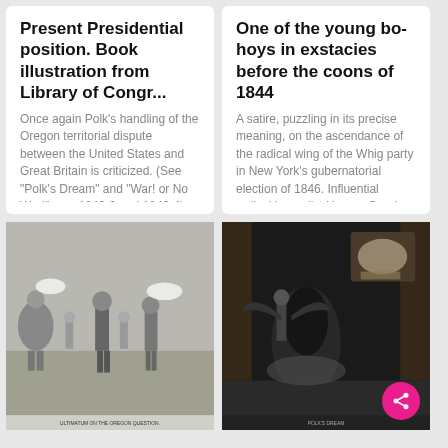Present Presidential position. Book illustration from Library of Congr...
Once again Polk's handling of the Oregon territorial dispute between the United States and Great Britain is criticized. (See "Polk's Dream" and "War! or No War!" nos. 1846-2 and 1846-4). Here the artist seems t... More
One of the young bo-hoys in exstacies before the coons of 1844
A satire, puzzling in its precise meaning, on the ascendance of the radical wing of the Whig party in New York's gubernatorial election of 1846. Influential radical journalist Horace Greeley dances a jig to th... More
[Figure (illustration): Historical political cartoon showing figures in 19th century dress engaged in discussion, captioned 'Ultimatum on the Oregon question']
[Figure (illustration): Historical political cartoon showing a dream scene with a figure in bed and dark dramatic imagery, captioned 'Polk's Dream']